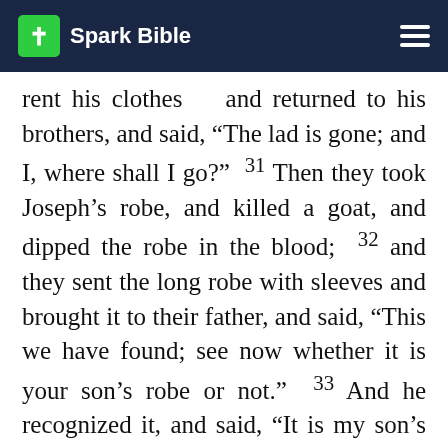Spark Bible
rent his clothes and returned to his brothers, and said, “The lad is gone; and I, where shall I go?” 31 Then they took Joseph’s robe, and killed a goat, and dipped the robe in the blood; 32 and they sent the long robe with sleeves and brought it to their father, and said, “This we have found; see now whether it is your son’s robe or not.” 33 And he recognized it, and said, “It is my son’s robe; a wild beast has devoured him; Joseph is without doubt torn to pieces.”